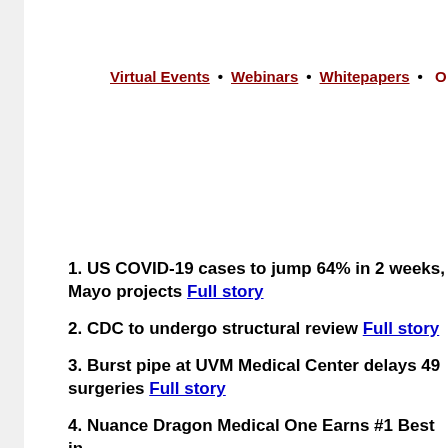Virtual Events • Webinars • Whitepapers • O...
1. US COVID-19 cases to jump 64% in 2 weeks, Mayo projects Full story
2. CDC to undergo structural review Full story
3. Burst pipe at UVM Medical Center delays 49 surgeries Full story
4. Nuance Dragon Medical One Earns #1 Best in KLAS 2022 Award for Speech Recognition; Fron...